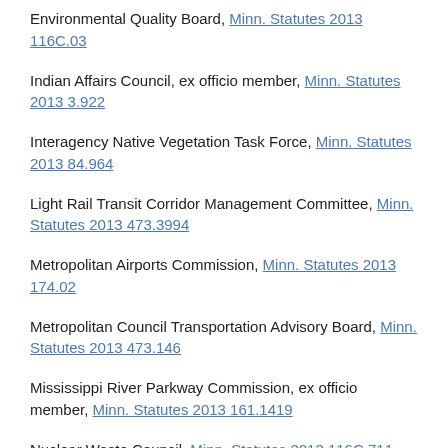Environmental Quality Board, Minn. Statutes 2013 116C.03
Indian Affairs Council, ex officio member, Minn. Statutes 2013 3.922
Interagency Native Vegetation Task Force, Minn. Statutes 2013 84.964
Light Rail Transit Corridor Management Committee, Minn. Statutes 2013 473.3994
Metropolitan Airports Commission, Minn. Statutes 2013 174.02
Metropolitan Council Transportation Advisory Board, Minn. Statutes 2013 473.146
Mississippi River Parkway Commission, ex officio member, Minn. Statutes 2013 161.1419
Nuclear Waste Council, Minn. Statutes 2013 116C.711